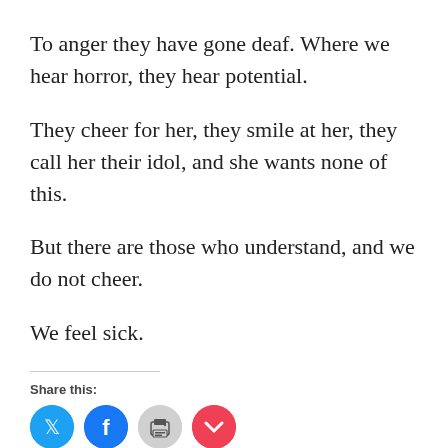To anger they have gone deaf. Where we hear horror, they hear potential.
They cheer for her, they smile at her, they call her their idol, and she wants none of this.
But there are those who understand, and we do not cheer.
We feel sick.
Share this: